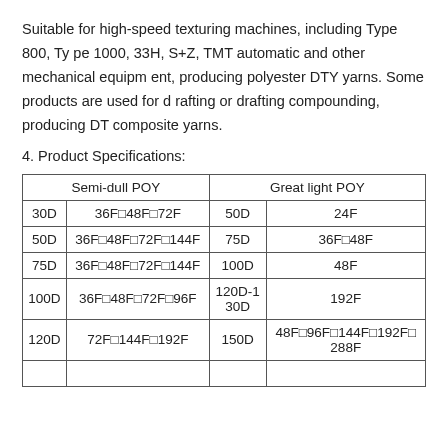Suitable for high-speed texturing machines, including Type 800, Type 1000, 33H, S+Z, TMT automatic and other mechanical equipment, producing polyester DTY yarns. Some products are used for drafting or drafting compounding, producing DT composite yarns.
4. Product Specifications:
| Semi-dull POY |  | Great light POY |  |
| --- | --- | --- | --- |
| 30D | 36F/48F/72F | 50D | 24F |
| 50D | 36F/48F/72F/144F | 75D | 36F/48F |
| 75D | 36F/48F/72F/144F | 100D | 48F |
| 100D | 36F/48F/72F/96F | 120D-130D | 192F |
| 120D | 72F/144F/192F | 150D | 48F/96F/144F/192F/288F |